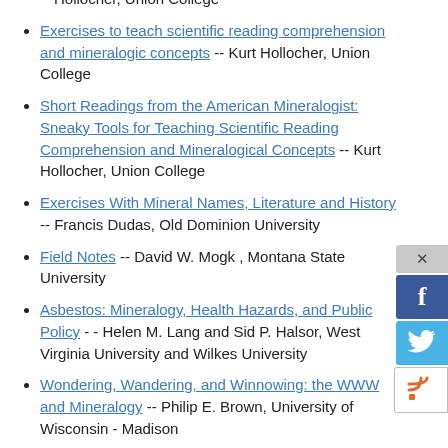Hollocher, Union College
Exercises to teach scientific reading comprehension and mineralogic concepts -- Kurt Hollocher, Union College
Short Readings from the American Mineralogist: Sneaky Tools for Teaching Scientific Reading Comprehension and Mineralogical Concepts -- Kurt Hollocher, Union College
Exercises With Mineral Names, Literature and History -- Francis Dudas, Old Dominion University
Field Notes -- David W. Mogk , Montana State University
Asbestos: Mineralogy, Health Hazards, and Public Policy -- Helen M. Lang and Sid P. Halsor, West Virginia University and Wilkes University
Wondering, Wandering, and Winnowing: the WWW and Mineralogy -- Philip E. Brown, University of Wisconsin - Madison
Private Mineral Project - -- Dexter Perkins, University of North Dakota
Private Mineral Gallery Walk -- Dexter Perkins, University of North Dakota